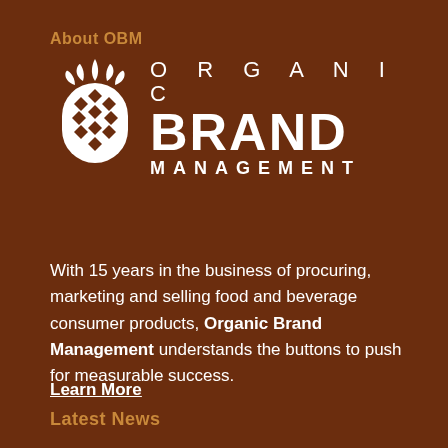About OBM
[Figure (logo): Organic Brand Management logo with pineapple icon, text reading ORGANIC BRAND MANAGEMENT in white on brown background]
With 15 years in the business of procuring, marketing and selling food and beverage consumer products, Organic Brand Management understands the buttons to push for measurable success.
Learn More
Latest News